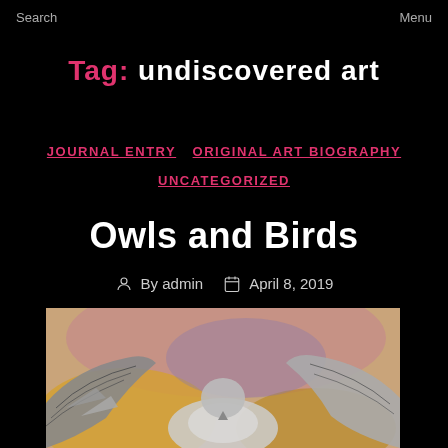Search    Menu
Tag: undiscovered art
JOURNAL ENTRY  ORIGINAL ART BIOGRAPHY  UNCATEGORIZED
Owls and Birds
By admin  April 8, 2019
[Figure (photo): Painting of a bird with spread wings against a warm pink and yellow background, rendered in a painterly style with visible brushstrokes.]